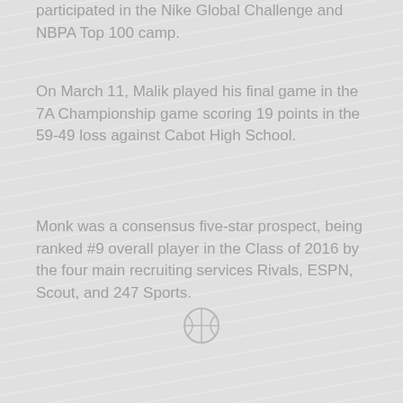participated in the Nike Global Challenge and NBPA Top 100 camp.
On March 11, Malik played his final game in the 7A Championship game scoring 19 points in the 59-49 loss against Cabot High School.
Monk was a consensus five-star prospect, being ranked #9 overall player in the Class of 2016 by the four main recruiting services Rivals, ESPN, Scout, and 247 Sports.
[Figure (illustration): Basketball icon/logo in light gray]